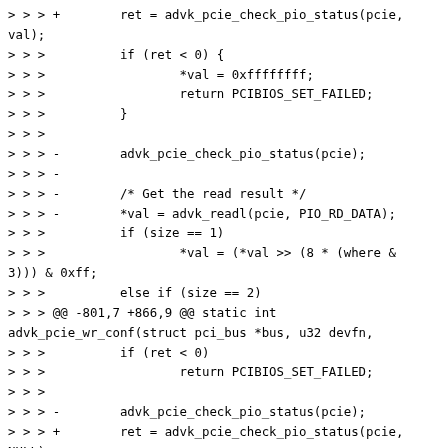[Figure (other): Code diff snippet showing changes to advk_pcie_check_pio_status function calls in a Linux kernel PCIe driver, with added return value handling and NULL parameter additions.]